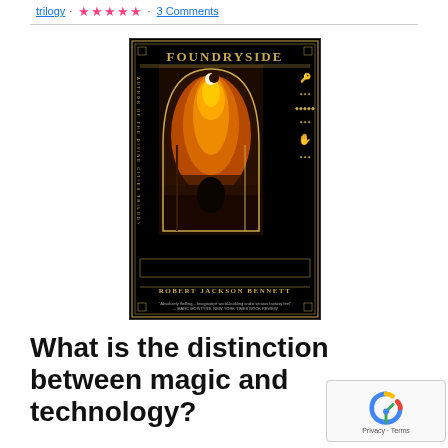trilogy · ★★★★★ · 3 Comments
[Figure (photo): Book cover of 'Foundryside' by Robert Jackson Bennett. Black background with gold art-deco border, an arched window showing a fiery orange scene with a figure and tree of fire, a crescent moon at top, gold decorative symbols on the sides, author name at bottom in gold letters.]
What is the distinction between magic and technology?